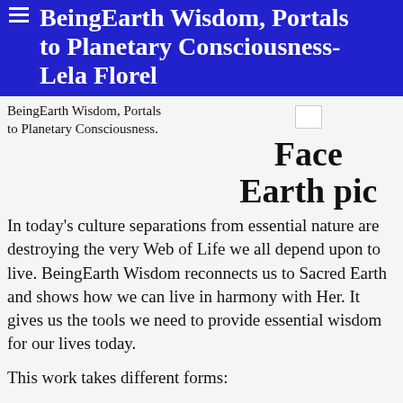BeingEarth Wisdom, Portals to Planetary Consciousness- Lela Florel
BeingEarth Wisdom, Portals to Planetary Consciousness.
[Figure (photo): Small broken image thumbnail placeholder]
Face Earth pic
In today's culture separations from essential nature are destroying the very Web of Life we all depend upon to live. BeingEarth Wisdom reconnects us to Sacred Earth and shows how we can live in harmony with Her. It gives us the tools we need to provide essential wisdom for our lives today.
This work takes different forms: